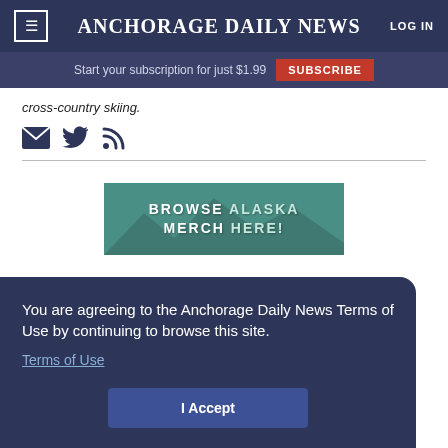≡ ANCHORAGE DAILY NEWS | LOG IN
Start your subscription for just $1.99 | SUBSCRIBE
cross-country skiing.
[Figure (other): Social share icons: email (envelope), Twitter (bird), RSS feed]
[Figure (other): Browse Alaska Merch Here! advertisement banner with green background and mountain silhouette]
You are agreeing to the Anchorage Daily News Terms of Use by continuing to browse this site.
Terms of Use
I Accept